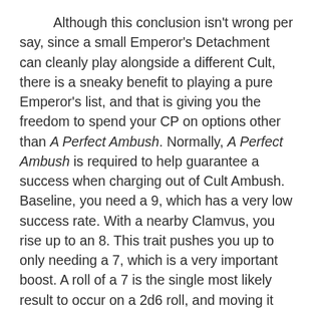Although this conclusion isn't wrong per say, since a small Emperor's Detachment can cleanly play alongside a different Cult, there is a sneaky benefit to playing a pure Emperor's list, and that is giving you the freedom to spend your CP on options other than A Perfect Ambush. Normally, A Perfect Ambush is required to help guarantee a success when charging out of Cult Ambush. Baseline, you need a 9, which has a very low success rate. With a nearby Clamvus, you rise up to an 8. This trait pushes you up to only needing a 7, which is a very important boost. A roll of a 7 is the single most likely result to occur on a 2d6 roll, and moving it from a failure to a success drastically improves your odds of success
This in turn means you are far less reliant on using A Perfect Ambush than any other Cult, which in turn opens you up to use the other Stratagems and Specialist Detachments available to GSC with far more freedom. A successful Emperor list will